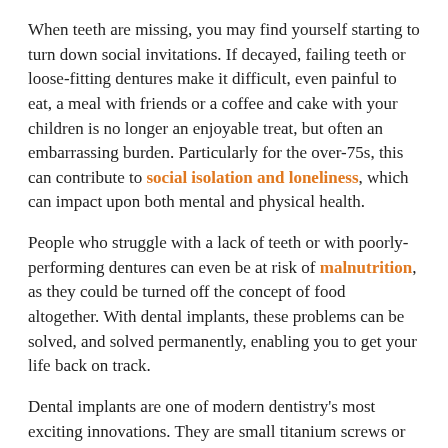When teeth are missing, you may find yourself starting to turn down social invitations. If decayed, failing teeth or loose-fitting dentures make it difficult, even painful to eat, a meal with friends or a coffee and cake with your children is no longer an enjoyable treat, but often an embarrassing burden. Particularly for the over-75s, this can contribute to social isolation and loneliness, which can impact upon both mental and physical health.
People who struggle with a lack of teeth or with poorly-performing dentures can even be at risk of malnutrition, as they could be turned off the concept of food altogether. With dental implants, these problems can be solved, and solved permanently, enabling you to get your life back on track.
Dental implants are one of modern dentistry's most exciting innovations. They are small titanium screws or posts that enable your dentist to replace the roots of missing teeth. As well as keeping your new teeth in your mouth securely, they also address the problem of bone loss.